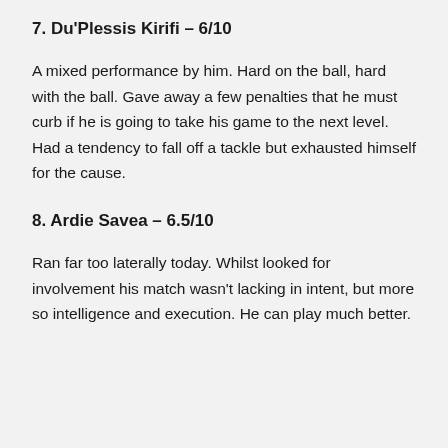7. Du'Plessis Kirifi – 6/10
A mixed performance by him. Hard on the ball, hard with the ball. Gave away a few penalties that he must curb if he is going to take his game to the next level. Had a tendency to fall off a tackle but exhausted himself for the cause.
8. Ardie Savea – 6.5/10
Ran far too laterally today. Whilst looked for involvement his match wasn't lacking in intent, but more so intelligence and execution. He can play much better.